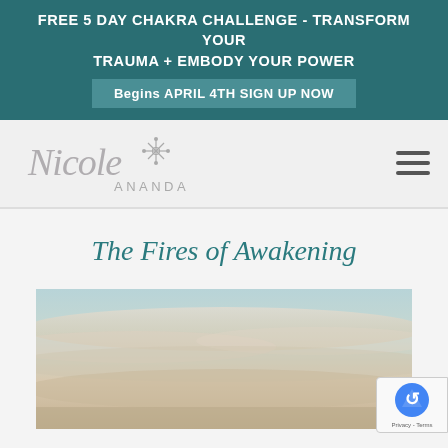FREE 5 DAY CHAKRA CHALLENGE - TRANSFORM YOUR TRAUMA + EMBODY YOUR POWER
Begins APRIL 4TH SIGN UP NOW
[Figure (logo): Nicole Ananda script and geometric logo]
The Fires of Awakening
[Figure (photo): Sky with soft clouds in warm tan and blue tones]